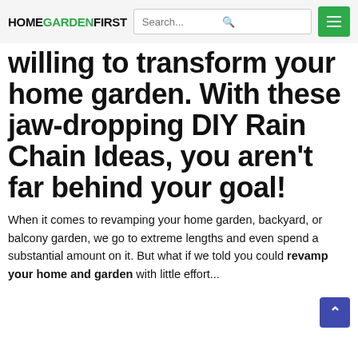HOMEGARDENFIRST | Search... | menu
willing to transform your home garden. With these jaw-dropping DIY Rain Chain Ideas, you aren't far behind your goal!
When it comes to revamping your home garden, backyard, or balcony garden, we go to extreme lengths and even spend a substantial amount on it. But what if we told you could revamp your home and garden with little effort...